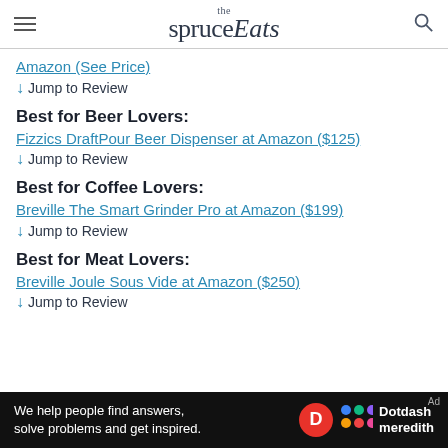the spruce Eats
Amazon (See Price)
↓ Jump to Review
Best for Beer Lovers: Fizzics DraftPour Beer Dispenser at Amazon ($125)
↓ Jump to Review
Best for Coffee Lovers: Breville The Smart Grinder Pro at Amazon ($199)
↓ Jump to Review
Best for Meat Lovers: Breville Joule Sous Vide at Amazon ($250)
↓ Jump to Review
[Figure (infographic): Dotdash Meredith advertisement bar: 'We help people find answers, solve problems and get inspired.' with D logo and Dotdash meredith branding on black background]